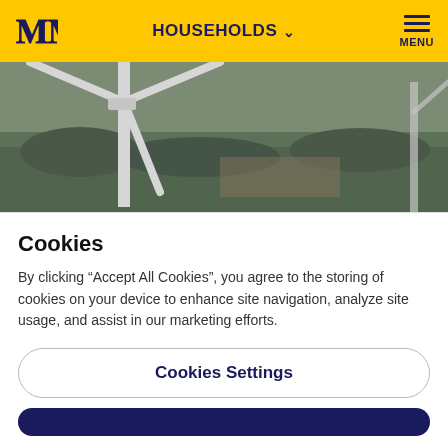HOUSEHOLDS
[Figure (photo): Aerial photo from Lakiakangas 3 wind park showing wind turbines over forested landscape]
Photo from Lakiakangas 3 wind park (photographer: Toni Hautala).
The project includes a total of 56 wind turbines producing about 1.1 terawatt-hours of electricity per
Cookies
By clicking “Accept All Cookies”, you agree to the storing of cookies on your device to enhance site navigation, analyze site usage, and assist in our marketing efforts.
Cookies Settings